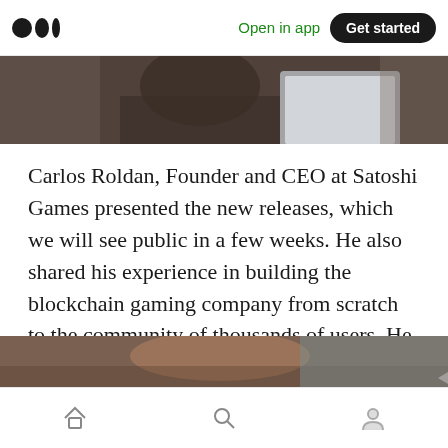Medium logo | Open in app | Get started
[Figure (photo): Top portion of a photo showing a person using a tablet/laptop, partially visible]
Carlos Roldan, Founder and CEO at Satoshi Games presented the new releases, which we will see public in a few weeks. He also shared his experience in building the blockchain gaming company from scratch to the community of thousands of users. He answered the questions regarding legal aspects and taxation, marketing and fundraising.
[Figure (photo): Bottom strip of a photo showing an interior/room scene, partially visible]
Navigation bar with home, search, and profile icons